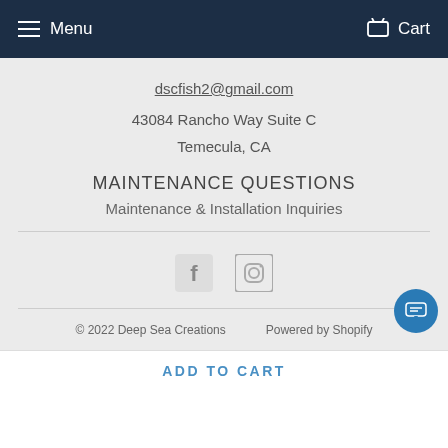Menu  Cart
dscfish2@gmail.com
43084 Rancho Way Suite C
Temecula, CA
MAINTENANCE QUESTIONS
Maintenance & Installation Inquiries
[Figure (other): Facebook and Instagram social media icons]
© 2022 Deep Sea Creations    Powered by Shopify
[Figure (other): Payment method icons: Amex, Apple Pay, Diners, Discover, Meta, Google Pay, Mastercard, PayPal, and one partially visible purple card]
ADD TO CART